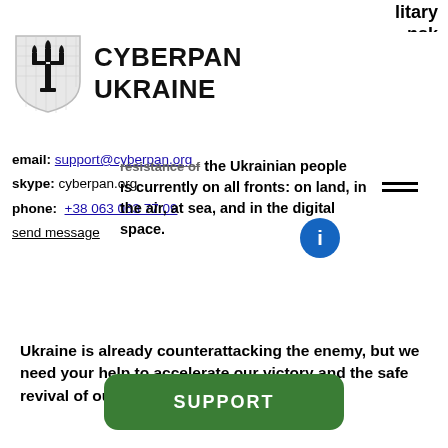...litary ...nsk
[Figure (logo): CYBERPAN UKRAINE logo with Ukrainian trident shield emblem]
email: support@cyberpan.org
skype: cyberpan.org
phone: +38 063 063 77 09
send message
resistance of the Ukrainian people is currently on all fronts: on land, in the air, at sea, and in the digital space.
Ukraine is already counterattacking the enemy, but we need your help to accelerate our victory and the safe revival of our country!
SUPPORT